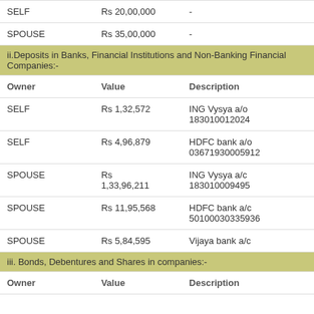| SELF | Rs 20,00,000 | - |
| SPOUSE | Rs 35,00,000 | - |
ii.Deposits in Banks, Financial Institutions and Non-Banking Financial Companies:-
| Owner | Value | Description |
| --- | --- | --- |
| SELF | Rs 1,32,572 | ING Vysya a/o 183010012024 |
| SELF | Rs 4,96,879 | HDFC bank a/o 03671930005912 |
| SPOUSE | Rs 1,33,96,211 | ING Vysya a/c 183010009495 |
| SPOUSE | Rs 11,95,568 | HDFC bank a/c 50100030335936 |
| SPOUSE | Rs 5,84,595 | Vijaya bank a/c |
iii. Bonds, Debentures and Shares in companies:-
| Owner | Value | Description |
| --- | --- | --- |